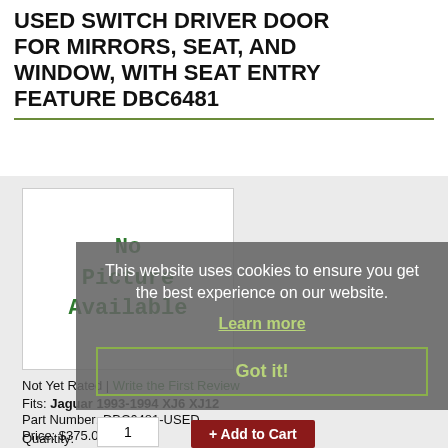USED SWITCH DRIVER DOOR FOR MIRRORS, SEAT, AND WINDOW, WITH SEAT ENTRY FEATURE DBC6481
[Figure (illustration): No Picture Available placeholder image box with green monospace text]
Not Yet Rated | Write the First Review
Fits: Jaguar 1993-1994 XJ6 XJ12
Part Number: DBC6481-USED
Price: $375.00
Used Part
Quantity:
1
+ Add to Cart
This website uses cookies to ensure you get the best experience on our website. Learn more Got it!